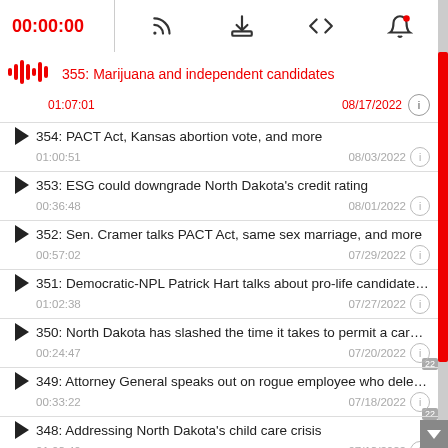00:00:00 [podcast player controls]
355: Marijuana and independent candidates | 01:07:01 | 08/17/2022
354: PACT Act, Kansas abortion vote, and more | 01:00:51 | 08/03/2022
353: ESG could downgrade North Dakota's credit rating | 00:36:48 | 08/01/2022
352: Sen. Cramer talks PACT Act, same sex marriage, and more | 00:57:02 | 07/29/2022
351: Democratic-NPL Patrick Hart talks about pro-life candidate co... | 01:02:38 | 07/27/2022
350: North Dakota has slashed the time it takes to permit a carbon . | 00:24:47 | 07/20/2022
349: Attorney General speaks out on rogue employee who deleted... | 00:33:22 | 07/18/2022
348: Addressing North Dakota's child care crisis | 01:03:40 | 07/13/2022
347: Gas station owner responds to Joe Biden